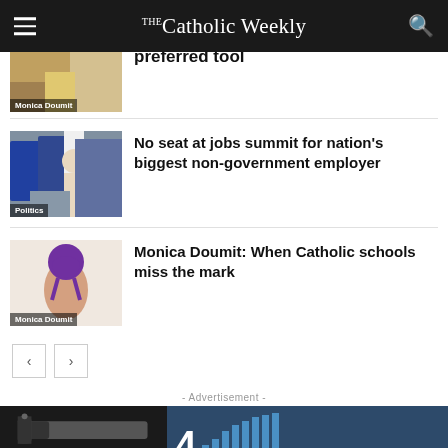The Catholic Weekly
preferred tool
Monica Doumit
No seat at jobs summit for nation's biggest non-government employer
Politics
Monica Doumit: When Catholic schools miss the mark
Monica Doumit
- Advertisement -
[Figure (screenshot): Advertisement banner with dark left panel showing a USB/device and blue right panel with large number 4 and bar chart bars]